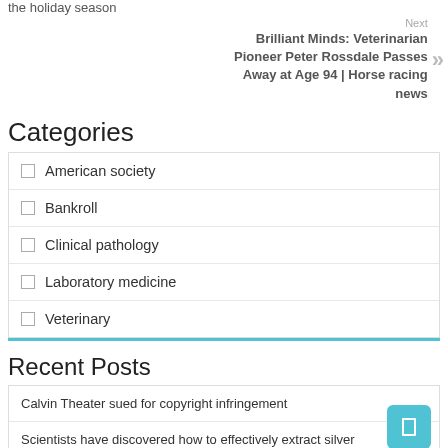the holiday season
Next
Brilliant Minds: Veterinarian Pioneer Peter Rossdale Passes Away at Age 94 | Horse racing news
Categories
American society
Bankroll
Clinical pathology
Laboratory medicine
Veterinary
Recent Posts
Calvin Theater sued for copyright infringement
Scientists have discovered how to effectively extract silver